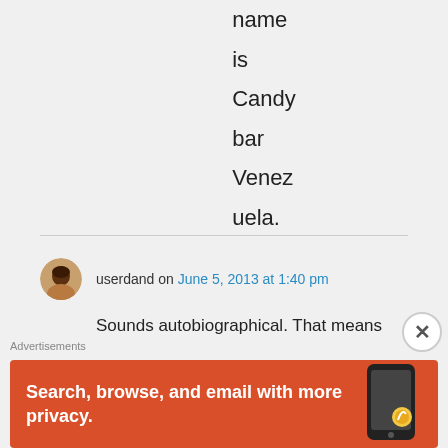name is Candy bar Venezuela.
userdand on June 5, 2013 at 1:40 pm
Sounds autobiographical. That means written about the author just in case. After perusing this blog, I
Advertisements
[Figure (screenshot): Advertisement banner: Search, browse, and email with more privacy. DuckDuckGo app on a phone.]